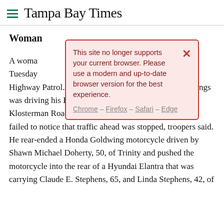Tampa Bay Times
Woman
[Figure (screenshot): Browser compatibility popup overlay. Text reads: 'This site no longer supports your current browser. Please use a modern and up-to-date browser version for the best experience.' with links: Chrome – Firefox – Safari – Edge. Red X close button in top right.]
A woman [partially obscured] e pileup Tuesday [partially obscured] Florida Highway Patrol. Jerome Hutchinson, 37, of Tarpon Springs was driving his Hyundai Sonata north toward the Klosterman Road intersection about 1:40 p.m. when he failed to notice that traffic ahead was stopped, troopers said. He rear-ended a Honda Goldwing motorcycle driven by Shawn Michael Doherty, 50, of Trinity and pushed the motorcycle into the rear of a Hyundai Elantra that was carrying Claude E. Stephens, 65, and Linda Stephens, 42, of